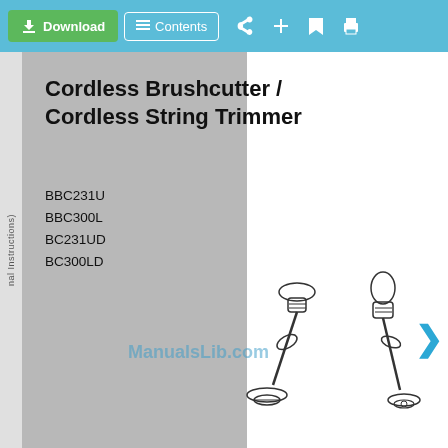Download | Contents | (navigation icons)
Cordless Brushcutter / Cordless String Trimmer
BBC231U
BBC300L
BC231UD
BC300LD
[Figure (illustration): Two cordless brushcutter/string trimmer tools shown side by side — one with a U-handle and brush blade, one with a loop handle and trimmer head. Black and white line illustration.]
ManualsLib.com